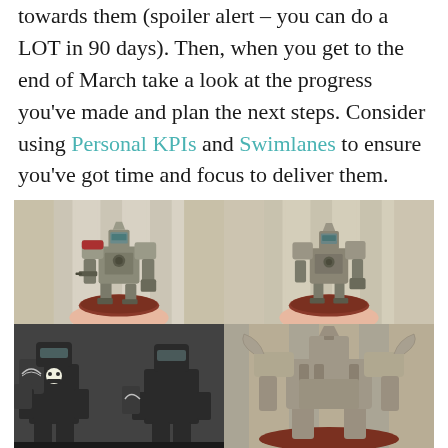towards them (spoiler alert – you can do a LOT in 90 days). Then, when you get to the end of March take a look at the progress you've made and plan the next steps. Consider using Personal KPIs and Swimlanes to ensure you've got time and focus to deliver them.
[Figure (photo): A 2x2 grid of photos showing miniature wargaming figures (Warhammer-style mechs/knights). Top row: front views of a tan/grey Imperial Knight miniature held in a hand, shown from two angles. Bottom row: close-up views of darker miniatures including a skull-marked soldier and a tan mech from behind.]